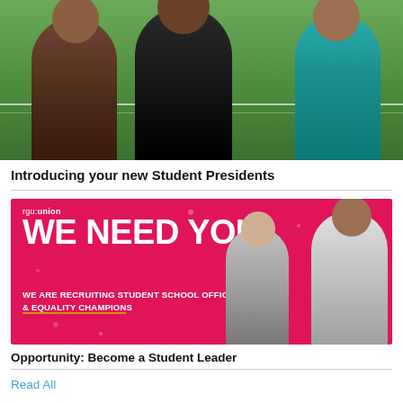[Figure (photo): Three young people standing outdoors near a railing with green trees in the background. A woman in a brown top on the left, a man in a black sports jacket in the center, and a woman in a teal top on the right.]
Introducing your new Student Presidents
[Figure (infographic): RGU Union banner on a pink/magenta background reading 'WE NEED YOU! WE ARE RECRUITING STUDENT SCHOOL OFFICERS & EQUALITY CHAMPIONS' with two students on the right side.]
Opportunity: Become a Student Leader
Read All
Top stories from Radar